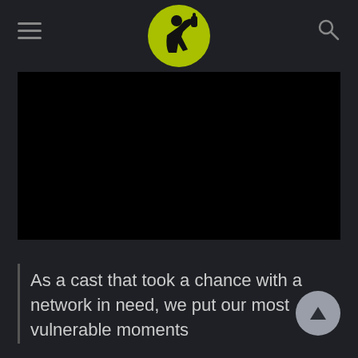[Figure (logo): Circular lime-green logo with a silhouette of a person drinking from a bottle, centered in the page header]
[Figure (screenshot): Black video player area with no content visible]
As a cast that took a chance with a network in need, we put our most vulnerable moments